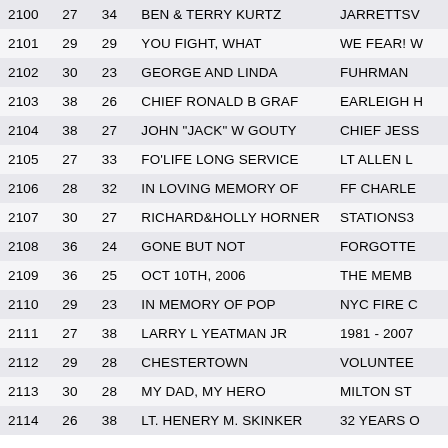| 2100 | 27 | 34 | BEN & TERRY KURTZ | JARRETTSV |
| 2101 | 29 | 29 | YOU FIGHT, WHAT | WE FEAR! W |
| 2102 | 30 | 23 | GEORGE AND LINDA | FUHRMAN |
| 2103 | 38 | 26 | CHIEF RONALD B GRAF | EARLEIGH H |
| 2104 | 38 | 27 | JOHN "JACK" W GOUTY | CHIEF JESS |
| 2105 | 27 | 33 | FO'LIFE LONG SERVICE | LT ALLEN L |
| 2106 | 28 | 32 | IN LOVING MEMORY OF | FF CHARLE |
| 2107 | 30 | 27 | RICHARD&HOLLY HORNER | STATIONS3 |
| 2108 | 36 | 24 | GONE BUT NOT | FORGOTTE |
| 2109 | 36 | 25 | OCT 10TH, 2006 | THE MEMB |
| 2110 | 29 | 23 | IN MEMORY OF POP | NYC FIRE C |
| 2111 | 27 | 38 | LARRY L YEATMAN JR | 1981 - 2007 |
| 2112 | 29 | 28 | CHESTERTOWN | VOLUNTEE |
| 2113 | 30 | 28 | MY DAD, MY HERO | MILTON ST |
| 2114 | 26 | 38 | LT. HENERY M. SKINKER | 32 YEARS O |